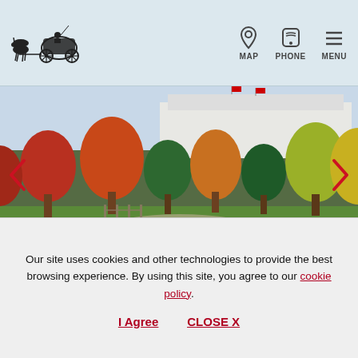[Figure (logo): Horse-drawn carriage logo for Grand Hotel Mackinac Island]
[Figure (other): Navigation icons: MAP (location pin), PHONE (telephone), MENU (hamburger)]
[Figure (photo): Autumn foliage scene on Mackinac Island with colorful fall trees and a white building in the background]
Promotional
Mackinac Fall Package
Journey to Mackinac Island this October and take in a quintessential Michigan fall with leaves changing colors,
Our site uses cookies and other technologies to provide the best browsing experience. By using this site, you agree to our cookie policy.
I Agree   CLOSE X